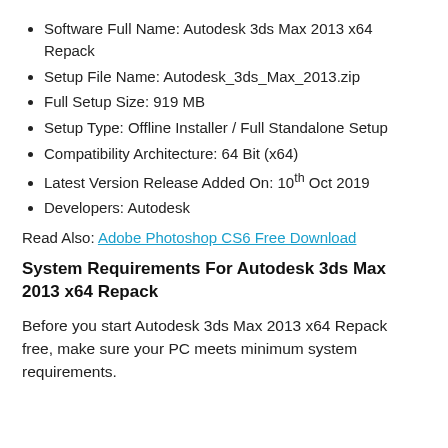Software Full Name: Autodesk 3ds Max 2013 x64 Repack
Setup File Name: Autodesk_3ds_Max_2013.zip
Full Setup Size: 919 MB
Setup Type: Offline Installer / Full Standalone Setup
Compatibility Architecture: 64 Bit (x64)
Latest Version Release Added On: 10th Oct 2019
Developers: Autodesk
Read Also: Adobe Photoshop CS6 Free Download
System Requirements For Autodesk 3ds Max 2013 x64 Repack
Before you start Autodesk 3ds Max 2013 x64 Repack free, make sure your PC meets minimum system requirements.